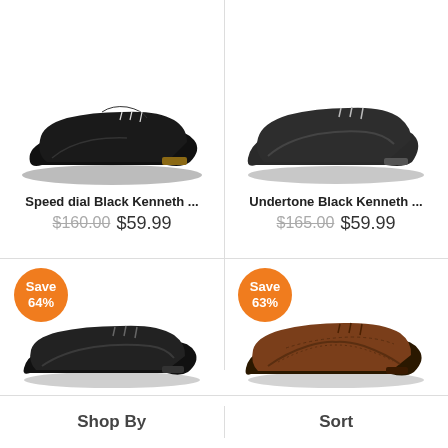[Figure (photo): Black leather Oxford dress shoe, Speed dial Black Kenneth, top left]
[Figure (photo): Black leather Oxford dress shoe, Undertone Black Kenneth, top right]
Speed dial Black Kenneth ...
$160.00 $59.99
Undertone Black Kenneth ...
$165.00 $59.99
[Figure (photo): Black leather Oxford dress shoe with Save 64% badge, bottom left]
[Figure (photo): Brown leather wingtip Oxford dress shoe with Save 63% badge, bottom right]
Shop By
Sort